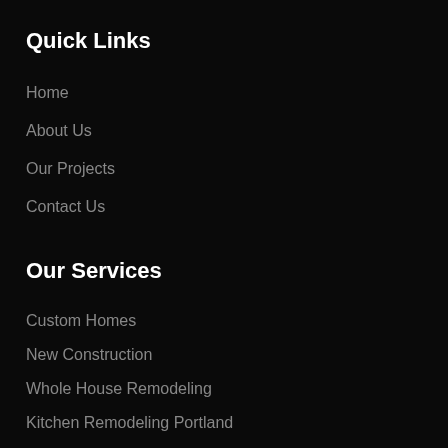Quick Links
Home
About Us
Our Projects
Contact Us
Our Services
Custom Homes
New Construction
Whole House Remodeling
Kitchen Remodeling Portland
Bathroom Remodeling Portland